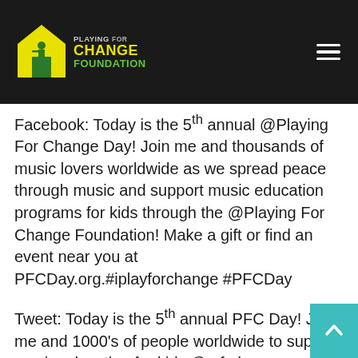[Figure (logo): Playing For Change Foundation logo — yellow house icon with guitarist silhouette, text 'PLAYING FOR CHANGE FOUNDATION']
Facebook: Today is the 5th annual @Playing For Change Day! Join me and thousands of music lovers worldwide as we spread peace through music and support music education programs for kids through the @Playing For Change Foundation! Make a gift or find an event near you at PFCDay.org.#iplayforchange #PFCDay
Tweet: Today is the 5th annual PFC Day! Join me and 1000's of people worldwide to support music education for kids @ pfcday.org #PFCDay
Share Your Experience: If you're hosting or attending a PFC Day event, don't forget to take photos and videos, and send along your favorite 5-10 pictures and/or YouTube video links to info@playingforchangeday.org